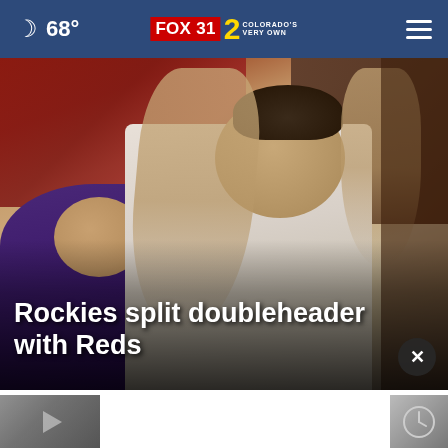68° FOX31 2 Colorado's Very Own
[Figure (photo): Baseball players high-fiving in the dugout, Colorado Rockies player in white jersey celebrating with teammates]
Rockies split doubleheader with Reds
[Figure (screenshot): Bottom strip showing video thumbnail with play button on left and clock thumbnail on right]